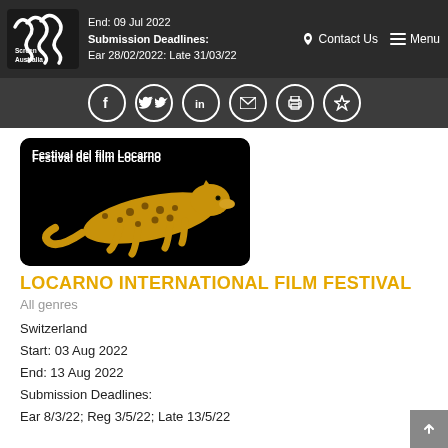End: 09 Jul 2022
Submission Deadlines:
Ear 28/02/2022: Late 31/03/22
Contact Us  Menu
[Figure (logo): Screen Australia logo - white stylized wave/kangaroo mark with 'Screen Australia' text on dark background]
[Figure (other): Social media icon buttons row: Facebook, Twitter, LinkedIn, Email, Print, Bookmark - white circle icons on dark grey background]
[Figure (photo): Festival del film Locarno banner: black background with golden leopard leaping, text 'Festival del film Locarno' in white]
LOCARNO INTERNATIONAL FILM FESTIVAL
All genres
Switzerland
Start: 03 Aug 2022
End: 13 Aug 2022
Submission Deadlines:
Ear 8/3/22; Reg 3/5/22; Late 13/5/22